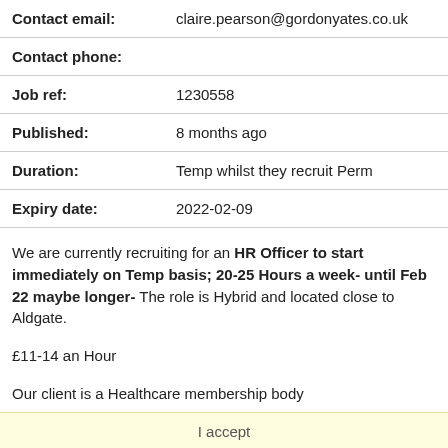| Contact email: | claire.pearson@gordonyates.co.uk |
| Contact phone: |  |
| Job ref: | 1230558 |
| Published: | 8 months ago |
| Duration: | Temp whilst they recruit Perm |
| Expiry date: | 2022-02-09 |
We are currently recruiting for an HR Officer to start immediately on Temp basis; 20-25 Hours a week- until Feb 22 maybe longer- The role is Hybrid and located close to Aldgate.
£11-14 an Hour
Our client is a Healthcare membership body
WHAT WILL YOU BE DOING?
Cascade HR information system/database
Maintain HR information system